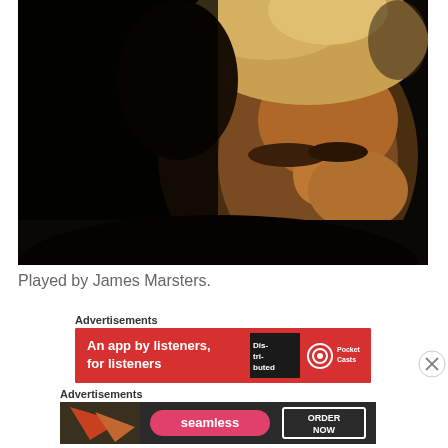[Figure (photo): Close-up dramatic photo of James Marsters (actor known for playing Spike in Buffy the Vampire Slayer) with bleached blond spiky hair, dark background, intense facial expression looking slightly to the side]
Played by James Marsters.
Advertisements
[Figure (photo): Pocket Casts advertisement banner with red background. Text reads: 'An app by listeners, for listeners' with 'Distributed' book/logo graphic and Pocket Casts logo on the right]
Advertisements
[Figure (photo): Seamless food delivery advertisement banner with dark background showing pizza slices, Seamless logo in pink/red, and 'ORDER NOW' button]